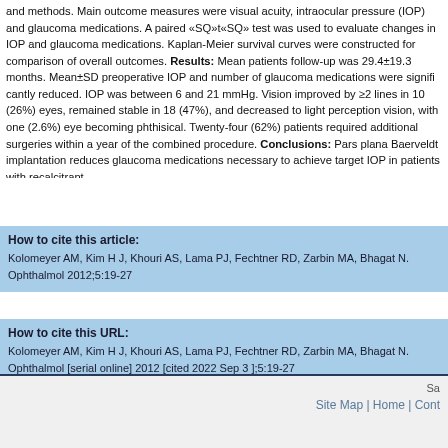and methods. Main outcome measures were visual acuity, intraocular pressure (IOP) and glaucoma medications. A paired «SQ»t«SQ» test was used to evaluate changes in IOP and glaucoma medications. Kaplan-Meier survival curves were constructed for comparison of overall outcomes. Results: Mean patient follow-up was 29.4±19.3 months. Mean±SD preoperative IOP and number of glaucoma medications were significantly reduced. IOP was between 6 and 21 mmHg. Vision improved by ≥2 lines in 10 (26%) eyes, remained stable in 18 (47%), and decreased to light perception vision, with one (2.6%) eye becoming phthisical. Twenty-four (62%) patients required additional surgeries within a year of the combined procedure. Conclusions: Pars plana Baerveldt implantation reduces glaucoma medications necessary to achieve target IOP in patients with recalcitrant
How to cite this article:
Kolomeyer AM, Kim H J, Khouri AS, Lama PJ, Fechtner RD, Zarbin MA, Bhagat N. Oman J Ophthalmol 2012;5:19-27
How to cite this URL:
Kolomeyer AM, Kim H J, Khouri AS, Lama PJ, Fechtner RD, Zarbin MA, Bhagat N. Oman J Ophthalmol [serial online] 2012 [cited 2022 Sep 3 ];5:19-27
Available from: https://www.ojoonline.org/article.asp?issn=0974-620X;year=2012
Site Map | Home | Cont